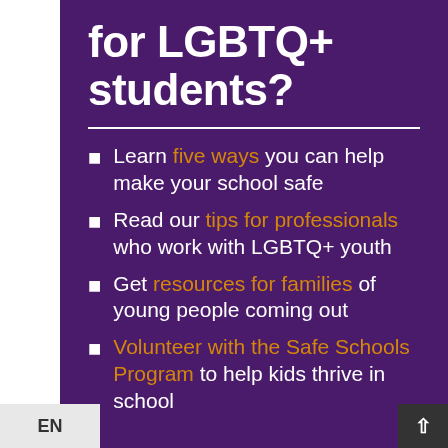for LGBTQ+ students?
Learn five ways you can help make your school safe
Read our tips for professionals who work with LGBTQ+ youth
Get resources for families of young people coming out
Volunteer with the Safe Schools Program to help kids thrive in school